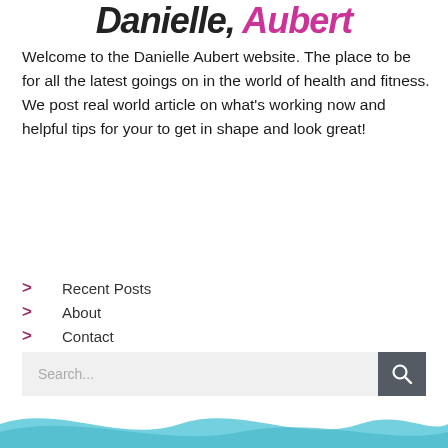Danielle Aubert
Welcome to the Danielle Aubert website. The place to be for all the latest goings on in the world of health and fitness. We post real world article on what's working now and helpful tips for your to get in shape and look great!
Recent Posts
About
Contact
Privacy
Suggestions